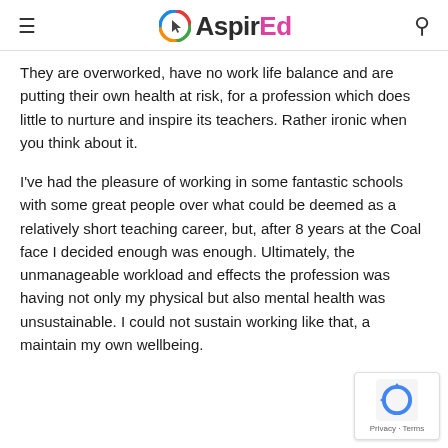AspirEd
They are overworked, have no work life balance and are putting their own health at risk, for a profession which does little to nurture and inspire its teachers. Rather ironic when you think about it.
I've had the pleasure of working in some fantastic schools with some great people over what could be deemed as a relatively short teaching career, but, after 8 years at the Coal face I decided enough was enough. Ultimately, the unmanageable workload and effects the profession was having not only my physical but also mental health was unsustainable. I could not sustain working like that, and maintain my own wellbeing.